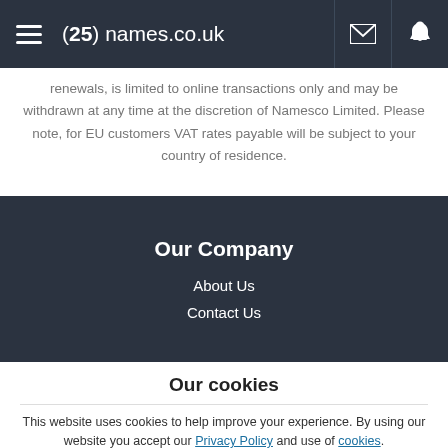(25) names.co.uk
renewals, is limited to online transactions only and may be withdrawn at any time at the discretion of Namesco Limited. Please note, for EU customers VAT rates payable will be subject to your country of residence.
Our Company
About Us
Contact Us
Our cookies
This website uses cookies to help improve your experience. By using our website you accept our Privacy Policy and use of cookies.